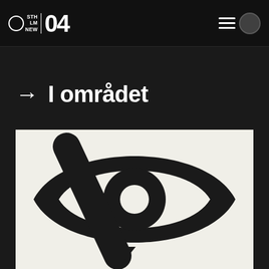STH LM NEW 04
→ I området
[Figure (illustration): A large black icon on a light/off-white background depicting a crossed-out eye symbol (eye with a diagonal slash through it), rendered in bold graphic style. The eye shape has two pointed ends with a visible iris/pupil circle in the center, and a thick diagonal line crosses from upper-left to lower-right over it.]